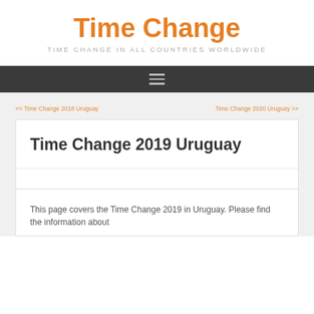Time Change
TIME CHANGE IN ALL COUNTRIES WORLDWIDE
<< Time Change 2018 Uruguay
Time Change 2020 Uruguay >>
Time Change 2019 Uruguay
This page covers the Time Change 2019 in Uruguay. Please find the information about